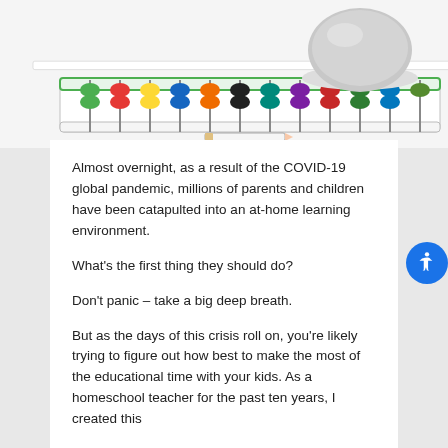[Figure (photo): Photo of a colorful abacus with multicolored beads (green, red, yellow, blue, orange, black, teal) on a white surface alongside a gray Google Home Mini smart speaker]
Almost overnight, as a result of the COVID-19 global pandemic, millions of parents and children have been catapulted into an at-home learning environment.
What’s the first thing they should do?
Don’t panic – take a big deep breath.
But as the days of this crisis roll on, you’re likely trying to figure out how best to make the most of the educational time with your kids. As a homeschool teacher for the past ten years, I created this